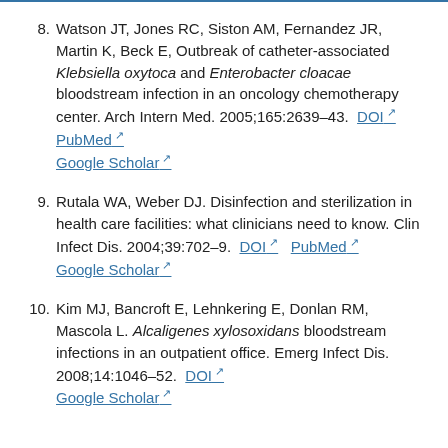8. Watson JT, Jones RC, Siston AM, Fernandez JR, Martin K, Beck E, Outbreak of catheter-associated Klebsiella oxytoca and Enterobacter cloacae bloodstream infection in an oncology chemotherapy center. Arch Intern Med. 2005;165:2639–43. DOI PubMed Google Scholar
9. Rutala WA, Weber DJ. Disinfection and sterilization in health care facilities: what clinicians need to know. Clin Infect Dis. 2004;39:702–9. DOI PubMed Google Scholar
10. Kim MJ, Bancroft E, Lehnkering E, Donlan RM, Mascola L. Alcaligenes xylosoxidans bloodstream infections in an outpatient office. Emerg Infect Dis. 2008;14:1046–52. DOI Google Scholar